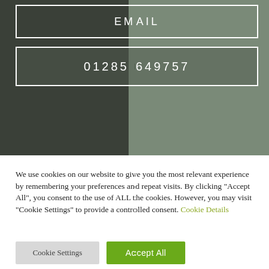[Figure (screenshot): Website screenshot showing an EMAIL button box and a phone number box (01285 649757) overlaid on a dark green/grey background image of a person in a suit]
We use cookies on our website to give you the most relevant experience by remembering your preferences and repeat visits. By clicking "Accept All", you consent to the use of ALL the cookies. However, you may visit "Cookie Settings" to provide a controlled consent. Cookie Details
Cookie Settings
Accept All